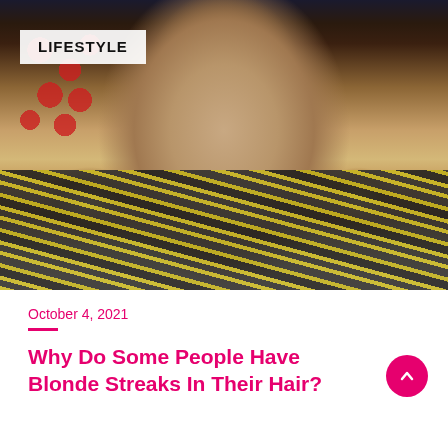[Figure (photo): A woman with highlighted brown-blonde hair wearing a yellow and black zebra-print turtleneck top, with red balloon decorations and silver spheres in the background. A LIFESTYLE badge overlay appears in the top-left.]
October 4, 2021
Why Do Some People Have Blonde Streaks In Their Hair?